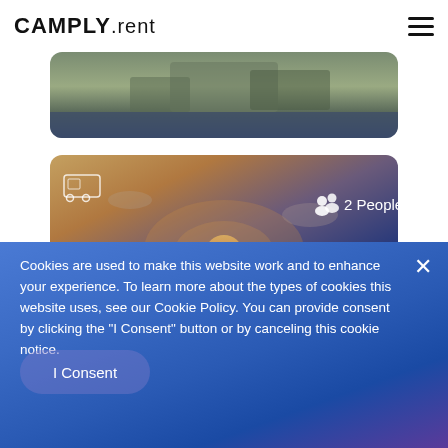CAMPLY.rent
[Figure (photo): Partial view of a campsite/nature scene photo card with trees and water, partially visible at top]
[Figure (photo): Camping card showing sunset over water with vehicle icon, location Harjumaa, dates 29.07.2022 - 05.08.2022, 2 People]
Harjumaa
29.07.2022 - 05.08.2022
Cookies are used to make this website work and to enhance your experience. To learn more about the types of cookies this website uses, see our Cookie Policy. You can provide consent by clicking the "I Consent" button or by canceling this cookie notice.
I Consent